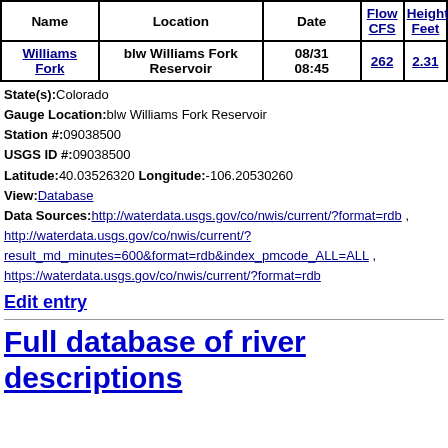| Name | Location | Date | Flow CFS | Height Feet |
| --- | --- | --- | --- | --- |
| Williams Fork | blw Williams Fork Reservoir | 08/31 08:45 | 262 | 2.31 |
State(s):Colorado
Gauge Location:blw Williams Fork Reservoir
Station #:09038500
USGS ID #:09038500
Latitude:40.03526320 Longitude:-106.20530260
View:Database
Data Sources:http://waterdata.usgs.gov/co/nwis/current/?format=rdb , http://waterdata.usgs.gov/co/nwis/current/?result_md_minutes=600&format=rdb&index_pmcode_ALL=ALL , https://waterdata.usgs.gov/co/nwis/current/?format=rdb
Edit entry
Full database of river descriptions